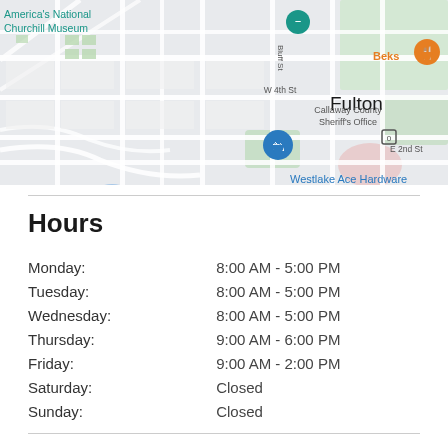[Figure (map): Google Maps screenshot showing Fulton, Missouri area with markers for America's National Churchill Museum (teal pin), Beks restaurant (orange pin), and Westlake Ace Hardware (blue shopping bag pin). Streets visible include W 4th St, Bluff St, E 2nd St. Callaway County Sheriff's Office labeled on right side.]
Hours
| Day | Hours |
| --- | --- |
| Monday: | 8:00 AM - 5:00 PM |
| Tuesday: | 8:00 AM - 5:00 PM |
| Wednesday: | 8:00 AM - 5:00 PM |
| Thursday: | 9:00 AM - 6:00 PM |
| Friday: | 9:00 AM - 2:00 PM |
| Saturday: | Closed |
| Sunday: | Closed |